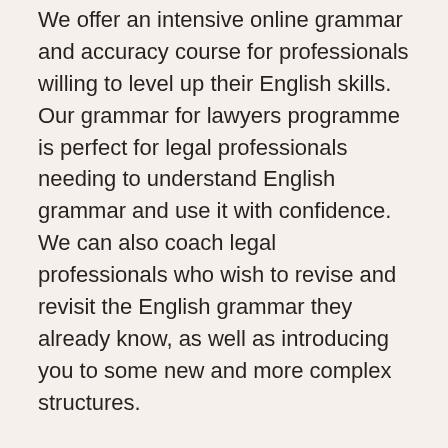We offer an intensive online grammar and accuracy course for professionals willing to level up their English skills. Our grammar for lawyers programme is perfect for legal professionals needing to understand English grammar and use it with confidence. We can also coach legal professionals who wish to revise and revisit the English grammar they already know, as well as introducing you to some new and more complex structures.
The English Grammar Course
The English Grammar Course is an effective grammar course for legal and business